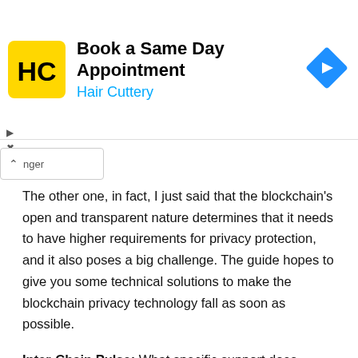[Figure (other): Hair Cuttery advertisement banner with yellow HC logo, text 'Book a Same Day Appointment' and 'Hair Cuttery', and a blue diamond direction arrow icon]
The other one, in fact, I just said that the blockchain's open and transparent nature determines that it needs to have higher requirements for privacy protection, and it also poses a big challenge. The guide hopes to give you some technical solutions to make the blockchain privacy technology fall as soon as possible.
Inter-Chain Pulse: What specific support does Zhongan specifically provide in the preparation of the Guide to the Blockchain Privacy Computing Service?
Wu Xiaochuan: Zhongan Technology deeply participated in the preparation of this guide. In fact, in 2016, Zhong An